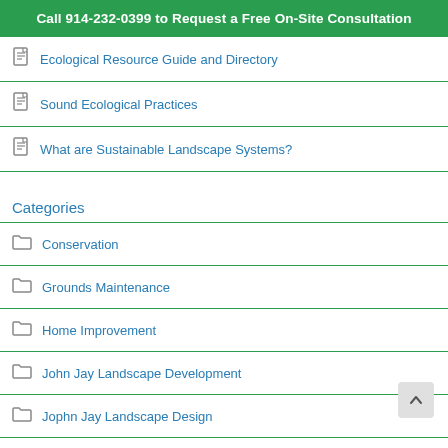Call 914-232-0399 to Request a Free On-Site Consultation
Ecological Resource Guide and Directory
Sound Ecological Practices
What are Sustainable Landscape Systems?
Categories
Conservation
Grounds Maintenance
Home Improvement
John Jay Landscape Development
Jophn Jay Landscape Design
Landscape Design
Landscape Development